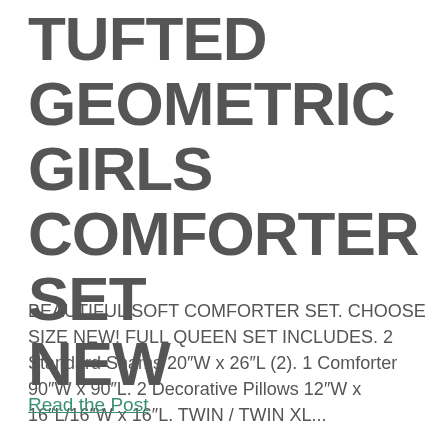TUFTED GEOMETRIC GIRLS COMFORTER SET NEW
BEAUTIFUL SOFT COMFORTER SET. CHOOSE SIZE NEW! FULL QUEEN SET INCLUDES. 2 Standard Shams 20″W x 26″L (2). 1 Comforter 90″W x 90″L. 2 Decorative Pillows 12″W x 16″L/16″W x 16″L. TWIN / TWIN XL...
Read the Post